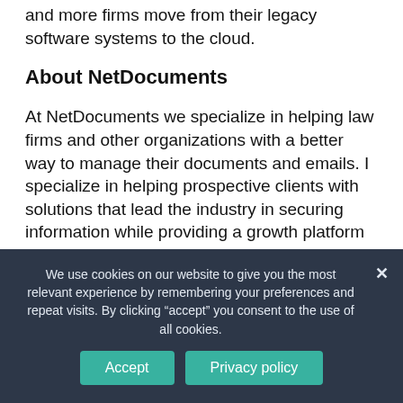and more firms move from their legacy software systems to the cloud.
About NetDocuments
At NetDocuments we specialize in helping law firms and other organizations with a better way to manage their documents and emails. I specialize in helping prospective clients with solutions that lead the industry in securing information while providing a growth platform that is easy to use for managing documents, notes and emails. Our solution frees up valuable time for our customers.
NetDocuments is a global SaaS/cloud software
We use cookies on our website to give you the most relevant experience by remembering your preferences and repeat visits. By clicking “accept” you consent to the use of all cookies.